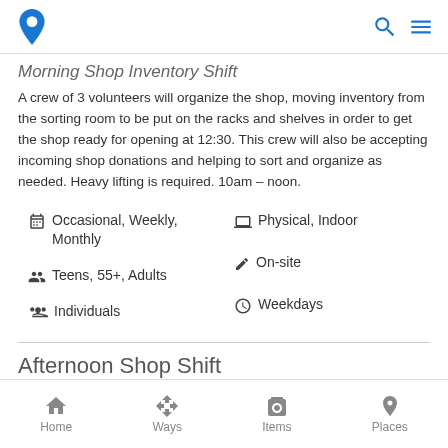Morning Shop Inventory Shift (app header with logo, search, menu)
Morning Shop Inventory Shift
A crew of 3 volunteers will organize the shop, moving inventory from the sorting room to be put on the racks and shelves in order to get the shop ready for opening at 12:30. This crew will also be accepting incoming shop donations and helping to sort and organize as needed. Heavy lifting is required. 10am – noon.
Occasional, Weekly, Monthly
Physical, Indoor
Teens, 55+, Adults
On-site
Individuals
Weekdays
Afternoon Shop Shift
A crew of 3 volunteers will staff the shop. One volunteer will be assigned to control of the front entrance greeting customers and…
Home  Ways  Items  Places